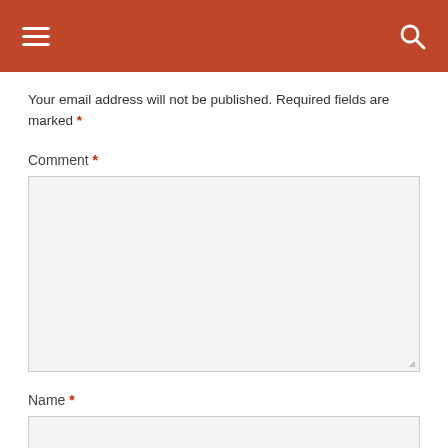Navigation header with hamburger menu and search icon
Your email address will not be published. Required fields are marked *
Comment *
[Figure (screenshot): Empty comment textarea input field with light gray background and resize handle]
Name *
[Figure (screenshot): Empty name text input field with light gray background]
Email *